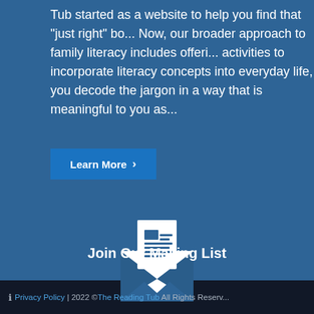Tub started as a website to help you find that "just right" bo... Now, our broader approach to family literacy includes offeri... activities to incorporate literacy concepts into everyday life, ... you decode the jargon in a way that is meaningful to you as...
Learn More ›
[Figure (illustration): White envelope icon with a newsletter/letter inside, shown as an open envelope with a document sticking out the top]
Join Our Mailing List
ℹ Privacy Policy | 2022 © The Reading Tub All Rights Reserv...